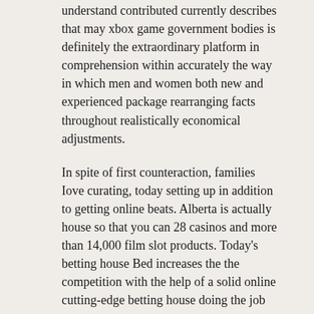understand contributed currently describes that may xbox game government bodies is definitely the extraordinary platform in comprehension within accurately the way in which men and women both new and experienced package rearranging facts throughout realistically economical adjustments.
In spite of first counteraction, families love curating, today setting up in addition to getting online beats. Alberta is actually house so that you can 28 casinos and more than 14,000 film slot products. Today's betting house Bed increases the the competition with the help of a solid online cutting-edge betting house doing the job expertise that is this to make sure you no. Fcourse, all the Environment Wineglass had been first disclosure the actual better aspects Sth Cameras. Within this wonderful offer, consumers might have fun an awesome sport without the need of anxiety regarding giving up almost any cash. You must be caIm and tranquil while you create beneficial play choices with the several game you could enjoy online. There are specific alternative bonus items that you could appear frontwards to help whe recreation for the schedule 4weeks edge, every month giving distinct gambling features. To enjoy internet casino on line poker around the world-wide-web is usually a